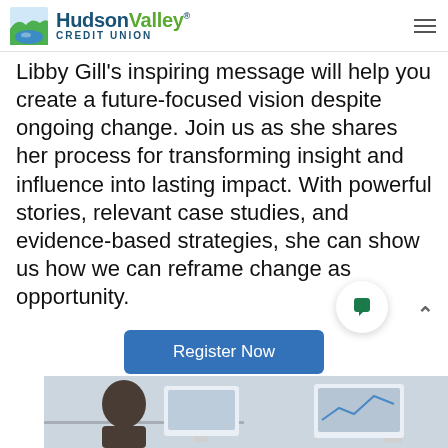Hudson Valley Credit Union
Libby Gill's inspiring message will help you create a future-focused vision despite ongoing change. Join us as she shares her process for transforming insight and influence into lasting impact. With powerful stories, relevant case studies, and evidence-based strategies, she can show us how we can reframe change as opportunity.
[Figure (other): Blue 'Register Now' button]
[Figure (other): Chat bubble icon with dark green speech bubble symbol]
[Figure (photo): Partial photo at bottom of page showing a person working at a computer screen, cropped at bottom edge]